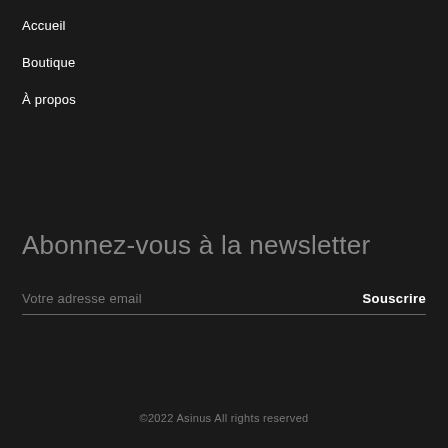Accueil
Boutique
À propos
Abonnez-vous à la newsletter
Votre adresse email
Souscrire
©2022 Asinus All rights reserved